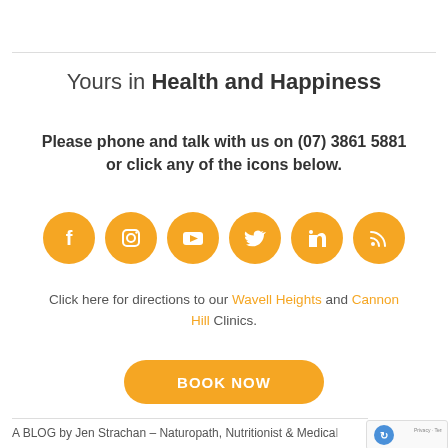Yours in Health and Happiness
Please phone and talk with us on (07) 3861 5881 or click any of the icons below.
[Figure (infographic): Six orange circular social media icons: Facebook, Instagram, YouTube, Twitter, LinkedIn, and a blog/RSS icon]
Click here for directions to our Wavell Heights and Cannon Hill Clinics.
BOOK NOW
A BLOG by Jen Strachan – Naturopath, Nutritionist & Medical